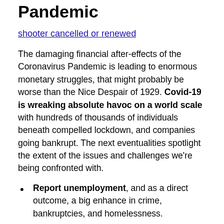Results of the Coronavirus Pandemic
shooter cancelled or renewed
The damaging financial after-effects of the Coronavirus Pandemic is leading to enormous monetary struggles, that might probably be worse than the Nice Despair of 1929. Covid-19 is wreaking absolute havoc on a world scale with hundreds of thousands of individuals beneath compelled lockdown, and companies going bankrupt. The next eventualities spotlight the extent of the issues and challenges we're being confronted with.
Report unemployment, and as a direct outcome, a big enhance in crime, bankruptcies, and homelessness.
A money-starved inhabitants that has not conserved their